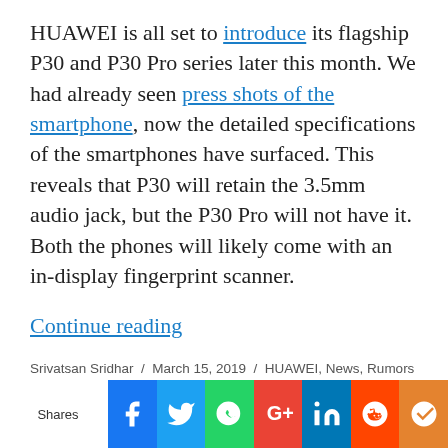HUAWEI is all set to introduce its flagship P30 and P30 Pro series later this month. We had already seen press shots of the smartphone, now the detailed specifications of the smartphones have surfaced. This reveals that P30 will retain the 3.5mm audio jack, but the P30 Pro will not have it. Both the phones will likely come with an in-display fingerprint scanner.
Continue reading
Srivatsan Sridhar / March 15, 2019 / HUAWEI, News, Rumors / Huawei P30, Huawei P30 Pro, P30 Pro / 0 Comments
[Figure (infographic): Social sharing bar with Facebook, Twitter, WhatsApp, Google+, LinkedIn, Reddit, and bookmark icons]